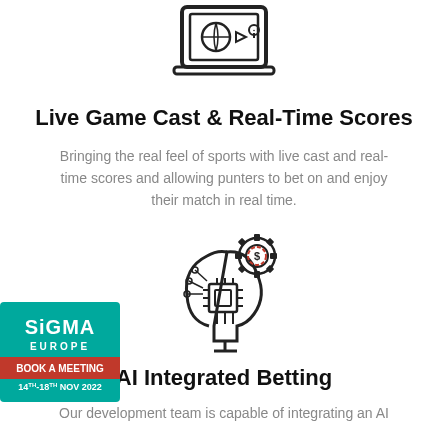[Figure (illustration): Line drawing icon of a laptop/screen showing a basketball, play button, and info icon — representing live game cast]
Live Game Cast & Real-Time Scores
Bringing the real feel of sports with live cast and real-time scores and allowing punters to bet on and enjoy their match in real time.
[Figure (illustration): Line drawing icon of an AI head/brain with circuit board, gear with dollar coin chip — representing AI integrated betting]
[Figure (logo): SiGMA Europe BOOK A MEETING 14th-18th NOV 2022 badge in teal/red/white]
AI Integrated Betting
Our development team is capable of integrating an AI